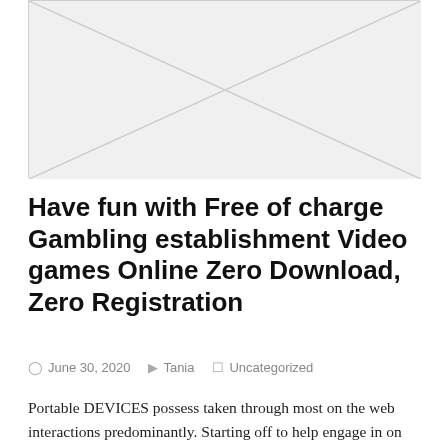[Figure (other): Placeholder image with diagonal lines crossing the box, light gray background]
Have fun with Free of charge Gambling establishment Video games Online Zero Download, Zero Registration
June 30, 2020   Tania   Uncategorized
Portable DEVICES possess taken through most on the web interactions predominantly. Starting off to help engage in on your cell gambling den is certainly pretty simple and easy and additionally straight-forward. Competitors interact with a